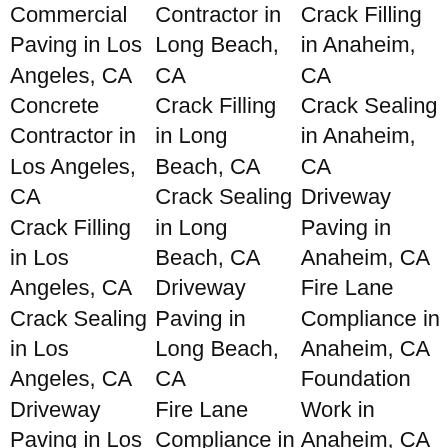Commercial Paving in Los Angeles, CA
Concrete Contractor in Los Angeles, CA
Crack Filling in Los Angeles, CA
Crack Sealing in Los Angeles, CA
Driveway Paving in Los Angeles,
Contractor in Long Beach, CA
Crack Filling in Long Beach, CA
Crack Sealing in Long Beach, CA
Driveway Paving in Long Beach, CA
Fire Lane Compliance in Long Beach, CA
Foundation Work in Long Beach, CA
Crack Filling in Anaheim, CA
Crack Sealing in Anaheim, CA
Driveway Paving in Anaheim, CA
Fire Lane Compliance in Anaheim, CA
Foundation Work in Anaheim, CA
Grading and Excavating in